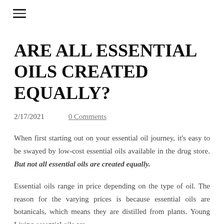≡
ARE ALL ESSENTIAL OILS CREATED EQUALLY?
2/17/2021    0 Comments
When first starting out on your essential oil journey, it's easy to be swayed by low-cost essential oils available in the drug store. But not all essential oils are created equally.
Essential oils range in price depending on the type of oil. The reason for the varying prices is because essential oils are botanicals, which means they are distilled from plants. Young Living essential oils are